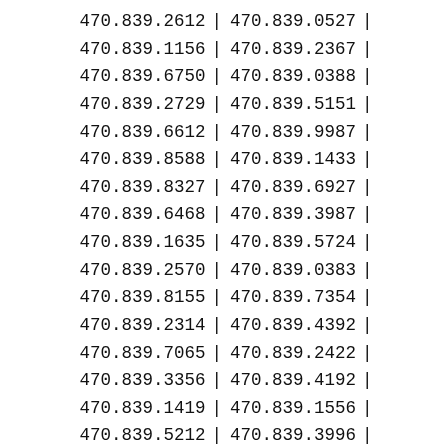| 470.839.2612 | | | 470.839.0527 | | |
| 470.839.1156 | | | 470.839.2367 | | |
| 470.839.6750 | | | 470.839.0388 | | |
| 470.839.2729 | | | 470.839.5151 | | |
| 470.839.6612 | | | 470.839.9987 | | |
| 470.839.8588 | | | 470.839.1433 | | |
| 470.839.8327 | | | 470.839.6927 | | |
| 470.839.6468 | | | 470.839.3987 | | |
| 470.839.1635 | | | 470.839.5724 | | |
| 470.839.2570 | | | 470.839.0383 | | |
| 470.839.8155 | | | 470.839.7354 | | |
| 470.839.2314 | | | 470.839.4392 | | |
| 470.839.7065 | | | 470.839.2422 | | |
| 470.839.3356 | | | 470.839.4192 | | |
| 470.839.1419 | | | 470.839.1556 | | |
| 470.839.5212 | | | 470.839.3996 | | |
| 470.839.8640 | | | 470.839.5177 | | |
| 470.839.8146 | | | 470.839.0518 | | |